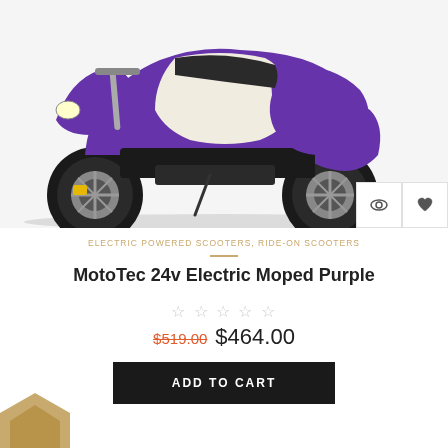[Figure (photo): Purple and white MotoTec 24v electric moped/scooter, side profile view, with two quick-action icon buttons (eye/view and heart/wishlist) overlaid in bottom-right corner of image]
ELECTRIC POWERED SCOOTERS, RIDE-ON SCOOTERS
MotoTec 24v Electric Moped Purple
☆ ☆ ☆ ☆ ☆
$519.00  $464.00
ADD TO CART
[Figure (logo): Partial tan/brown arrow or chevron logo shape visible at bottom-left corner]